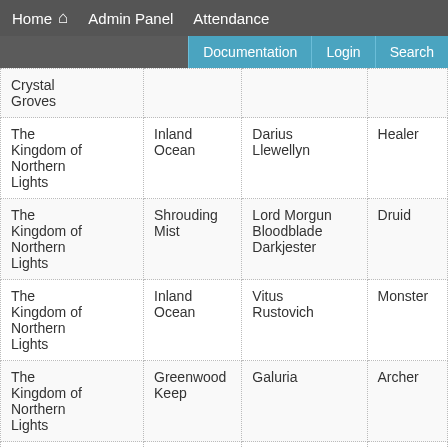Home  Admin Panel  Attendance
Documentation | Login | Search
| Kingdom/Region | Location | Name | Role |
| --- | --- | --- | --- |
| Crystal Groves |  |  |  |
| The Kingdom of Northern Lights | Inland Ocean | Darius Llewellyn | Healer |
| The Kingdom of Northern Lights | Shrouding Mist | Lord Morgun Bloodblade Darkjester | Druid |
| The Kingdom of Northern Lights | Inland Ocean | Vitus Rustovich | Monster |
| The Kingdom of Northern Lights | Greenwood Keep | Galuria | Archer |
| The Kingdom of Northern Lights | Greenwood Keep | Canary Voad Wormwood | Warrior |
| The |  |  |  |